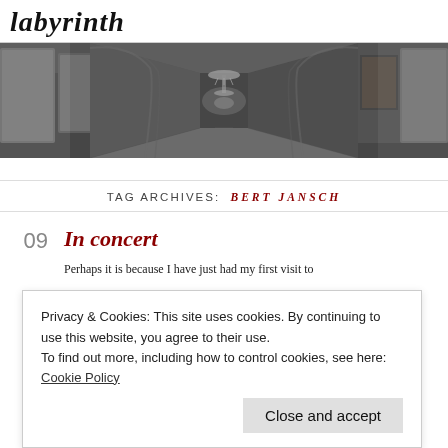labyrinth
[Figure (photo): Black and white photograph of an ornate hall with arched windows, chandeliers and paintings on the walls, perspective leading to the back.]
TAG ARCHIVES: BERT JANSCH
09
In concert
Privacy & Cookies: This site uses cookies. By continuing to use this website, you agree to their use.
To find out more, including how to control cookies, see here: Cookie Policy
Close and accept
Perhaps it is because I have just had my first visit to